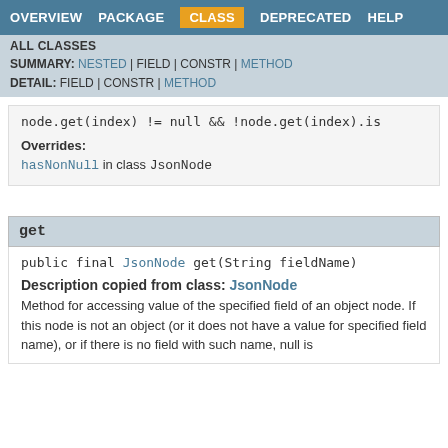OVERVIEW  PACKAGE  CLASS  DEPRECATED  HELP
ALL CLASSES
SUMMARY: NESTED | FIELD | CONSTR | METHOD
DETAIL: FIELD | CONSTR | METHOD
Overrides:
hasNonNull in class JsonNode
get
Description copied from class: JsonNode
Method for accessing value of the specified field of an object node. If this node is not an object (or it does not have a value for specified field name), or if there is no field with such name, null is returned.